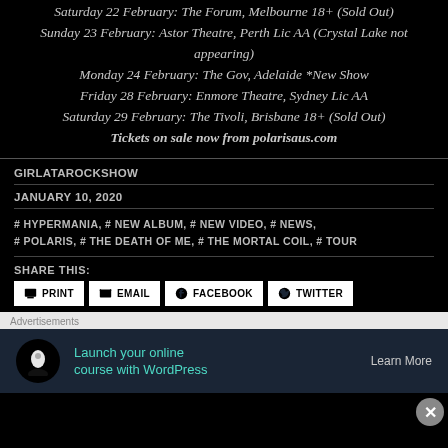Saturday 22 February: The Forum, Melbourne 18+ (Sold Out)
Sunday 23 February: Astor Theatre, Perth Lic AA (Crystal Lake not appearing)
Monday 24 February: The Gov, Adelaide *New Show
Friday 28 February: Enmore Theatre, Sydney Lic AA
Saturday 29 February: The Tivoli, Brisbane 18+ (Sold Out)
Tickets on sale now from polarisaus.com
GIRLATAROCKSHOW
JANUARY 10, 2020
# HYPERMANIA, # NEW ALBUM, # NEW VIDEO, # NEWS, # POLARIS, # THE DEATH OF ME, # THE MORTAL COIL, # TOUR
SHARE THIS:
PRINT EMAIL FACEBOOK TWITTER
Advertisements
Launch your online course with WordPress Learn More